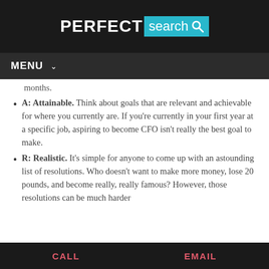PERFECT search
MENU
months.
A: Attainable. Think about goals that are relevant and achievable for where you currently are. If you're currently in your first year at a specific job, aspiring to become CFO isn't really the best goal to make.
R: Realistic. It's simple for anyone to come up with an astounding list of resolutions. Who doesn't want to make more money, lose 20 pounds, and become really, really famous? However, those resolutions can be much harder
CALL   EMAIL